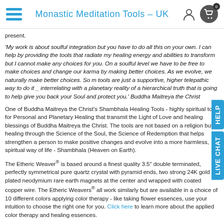Monastic Meditation Tools – UK
present.
'My work is about soulful integration but you have to do all this on your own. I can help by providing the tools that radiate my healing energy and abilities to transform but I cannot make any choices for you. On a soulful level we have to be free to make choices and change our karma by making better choices. As we evolve, we naturally make better choices. So m tools are just a supportive, higher telepathic way to do it _ interrelating with a planetary reality of a hierarchical truth that is going to help give you back your Soul and protect you.' Buddha Maitreya the Christ
One of Buddha Maitreya the Christ's Shambhala Healing Tools - highly spiritual too for Personal and Planetary Healing that transmit the Light of Love and healing blessings of Buddha Maitreya the Christ. The tools are not based on a religion but healing through the Science of the Soul, the Science of Redemption that helps strengthen a person to make positive changes and evolve into a more harmless, spiritual way of life - Shambhala (Heaven on Earth).
The Etheric Weaver® is based around a finest quality 3.5" double terminated, perfectly symmetrical pure quartz crystal with pyramid ends, two strong 24K gold plated neodymium rare earth magnets at the center and wrapped with coated copper wire. The Etheric Weavers® all work similarly but are available in a choice of 10 different colors applying color therapy - like taking flower essences, use your intuition to choose the right one for you. Click here to learn more about the applied color therapy and healing essences.
Every tool is handcrafted by the monks and nuns at Buddha Maitreya the Christ's